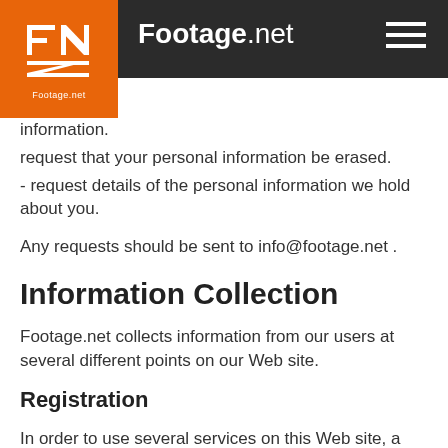[Figure (logo): Footage.net logo: orange square with FN letters in white, text 'Footage.net' below]
Footage.net
information.
request that your personal information be erased.
- request details of the personal information we hold about you.
Any requests should be sent to info@footage.net .
Information Collection
Footage.net collects information from our users at several different points on our Web site.
Registration
In order to use several services on this Web site, a user must complete the registration form. During registration a user gives contact information, such as name and